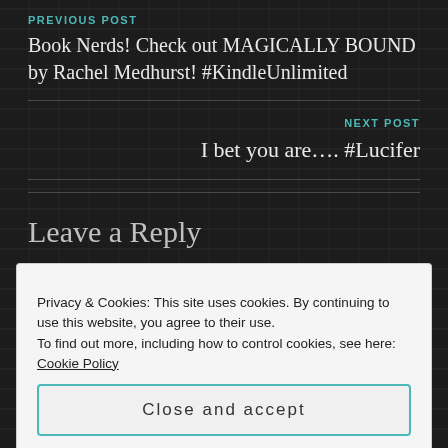PREVIOUS POST
Book Nerds! Check out MAGICALLY BOUND by Rachel Medhurst! #KindleUnlimited
NEXT POST
I bet you are…. #Lucifer
Leave a Reply
Privacy & Cookies: This site uses cookies. By continuing to use this website, you agree to their use.
To find out more, including how to control cookies, see here: Cookie Policy
Close and accept